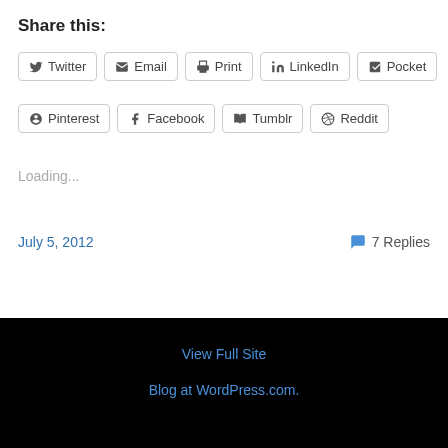Share this:
Twitter
Email
Print
LinkedIn
Pocket
Pinterest
Facebook
Tumblr
Reddit
Loading...
July 5, 2012
7 Replies
View Full Site
Blog at WordPress.com.